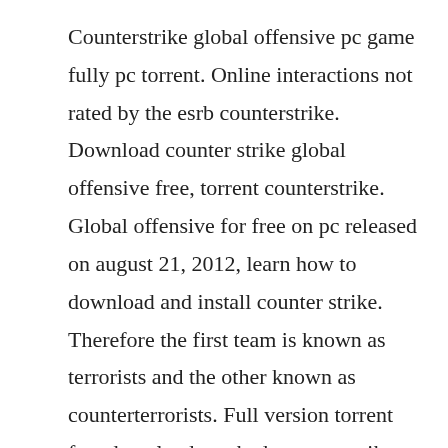Counterstrike global offensive pc game fully pc torrent. Online interactions not rated by the esrb counterstrike. Download counter strike global offensive free, torrent counterstrike. Global offensive for free on pc released on august 21, 2012, learn how to download and install counter strike. Therefore the first team is known as terrorists and the other known as counterterrorists. Full version torrent free download cracked counter strike global offensive is a multiplayer firstperson shooter video game description.